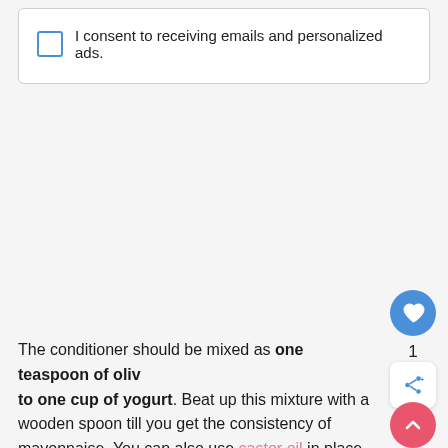I consent to receiving emails and personalized ads.
The conditioner should be mixed as one teaspoon of olive oil to one cup of yogurt. Beat up this mixture with a wooden spoon till you get the consistency of mayonnaise. You can also use castor oil in place of olive oil. Coconut oil is another good option, but just be aware that when you take the yogurt